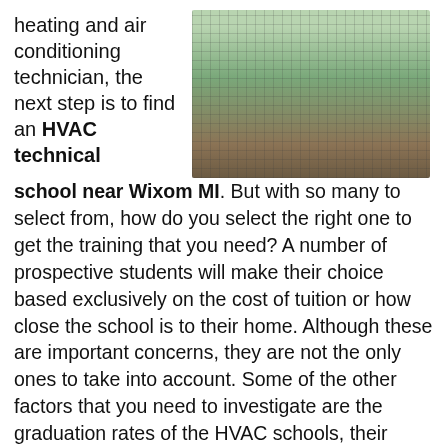heating and air conditioning technician, the next step is to find an HVAC technical school near Wixom MI.
[Figure (photo): Outdoor HVAC air conditioning units with plants and mulch around the base]
But with so many to select from, how do you select the right one to get the training that you need? A number of prospective students will make their choice based exclusively on the cost of tuition or how close the school is to their home. Although these are important concerns, they are not the only ones to take into account. Some of the other factors that you need to investigate are the graduation rates of the HVAC schools, their reputations, and if they are accredited by professional trade organizations. These and additional benchmarks will be addressed in more detail later in this article. But before we tackle how to select an HVAC trade school, let's look at what a heating and a/c professional does to become a licensed professional tradesman.